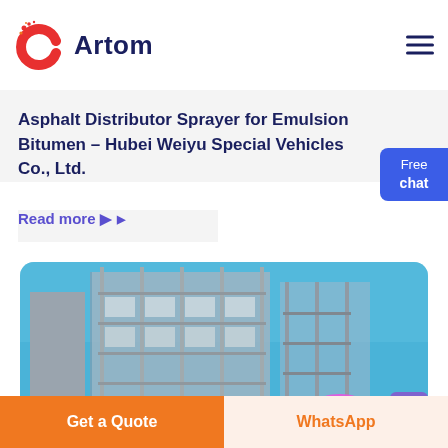Artom
Asphalt Distributor Sprayer for Emulsion Bitumen – Hubei Weiyu Special Vehicles Co., Ltd.
Read more ▶
[Figure (photo): Construction building with scaffolding against a blue sky]
Get a Quote
WhatsApp